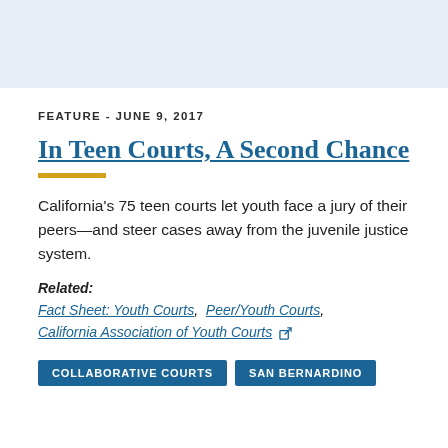[Figure (other): Light blue/grey header banner area at top of page]
FEATURE - JUNE 9, 2017
In Teen Courts, A Second Chance
California's 75 teen courts let youth face a jury of their peers—and steer cases away from the juvenile justice system.
Related:
Fact Sheet: Youth Courts, Peer/Youth Courts, California Association of Youth Courts
COLLABORATIVE COURTS   SAN BERNARDINO